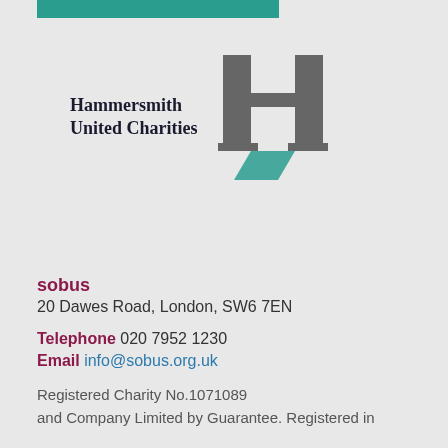[Figure (logo): Hammersmith United Charities logo with stylized H in grey and teal]
sobus
20 Dawes Road, London, SW6 7EN
Telephone 020 7952 1230
Email info@sobus.org.uk
Registered Charity No.1071089
and Company Limited by Guarantee. Registered in